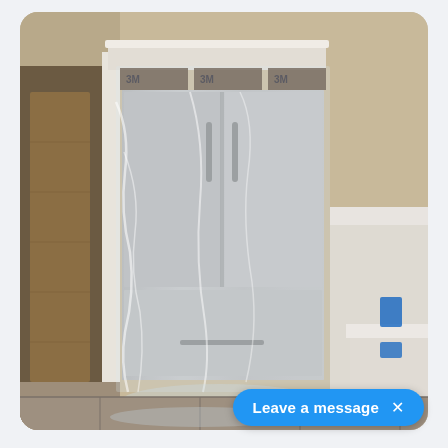[Figure (photo): Indoor photo of a kitchen under construction or renovation. A stainless steel French door refrigerator is wrapped in clear plastic protective film and covered with 3M tape at the top. It is installed in a built-in cabinet enclosure with white crown molding trim. To the left is an open doorway with white trim. To the right is a partial view of white countertops and cabinetry. The walls are taupe/beige. The floor appears to be tile. Blue painter's tape or electrical boxes are visible on the right wall.]
Leave a message  ×